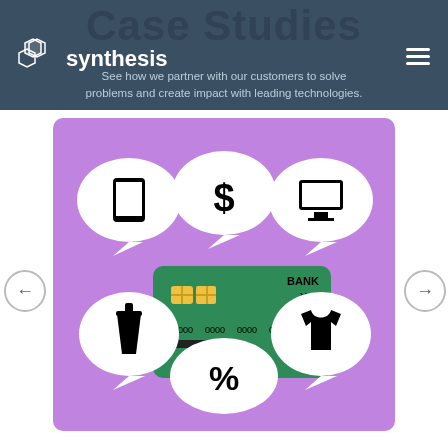Case Studies
Case Studies
See how we partner with our customers to solve problems and create impact with leading technologies.
[Figure (infographic): A purple infographic showing a green bank card in the center surrounded by five speech bubble icons: smartphone (top-left), dollar sign (top-center), monitor (top-right), drink cup (bottom-left), t-shirt (bottom-right), and a percent sign speech bubble at the bottom center.]